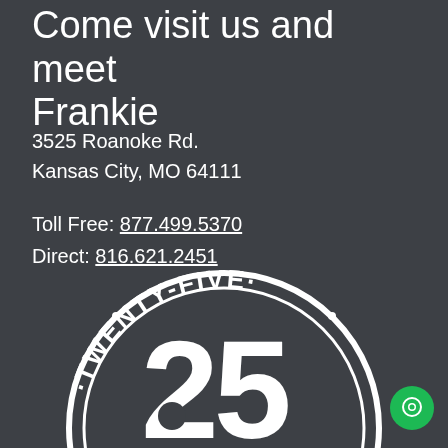Come visit us and meet Frankie
3525 Roanoke Rd.
Kansas City, MO 64111
Toll Free: 877.499.5370
Direct: 816.621.2451
[Figure (logo): Circular logo with text 'TWENTY-FIVE' arched along the top and the number '25' in large bold numerals in the center, white on dark background]